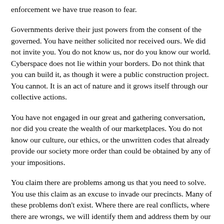enforcement we have true reason to fear.
Governments derive their just powers from the consent of the governed. You have neither solicited nor received ours. We did not invite you. You do not know us, nor do you know our world. Cyberspace does not lie within your borders. Do not think that you can build it, as though it were a public construction project. You cannot. It is an act of nature and it grows itself through our collective actions.
You have not engaged in our great and gathering conversation, nor did you create the wealth of our marketplaces. You do not know our culture, our ethics, or the unwritten codes that already provide our society more order than could be obtained by any of your impositions.
You claim there are problems among us that you need to solve. You use this claim as an excuse to invade our precincts. Many of these problems don't exist. Where there are real conflicts, where there are wrongs, we will identify them and address them by our means. We are forming our own Social Contract . This governance will arise according to the conditions of our world, not yours. Our world is different.
Cyberspace consists of transactions, relationships, and thought itself,